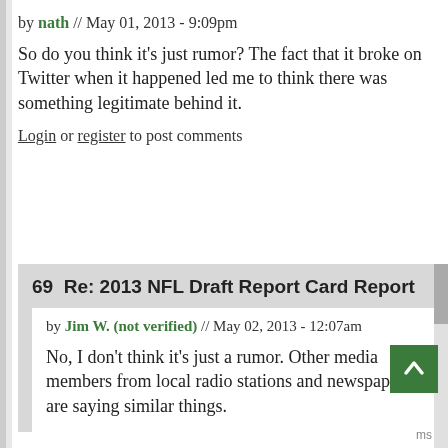by nath // May 01, 2013 - 9:09pm
So do you think it's just rumor? The fact that it broke on Twitter when it happened led me to think there was something legitimate behind it.
Login or register to post comments
69  Re: 2013 NFL Draft Report Card Report
by Jim W. (not verified) // May 02, 2013 - 12:07am
No, I don't think it's just a rumor. Other media members from local radio stations and newspapers are saying similar things.